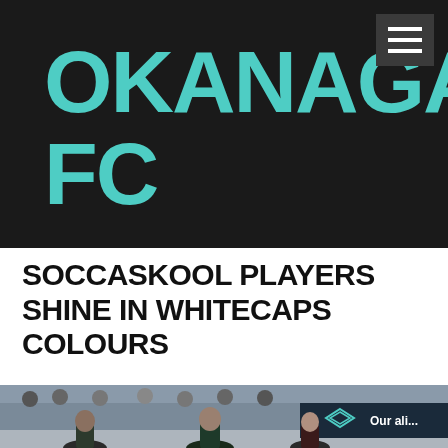OKANAGAN FC
SOCCASKOOL PLAYERS SHINE IN WHITECAPS COLOURS
[Figure (photo): Photo of youth soccer players on a field wearing Whitecaps colours, with a banner visible in the background showing a logo and text 'Our ali...']